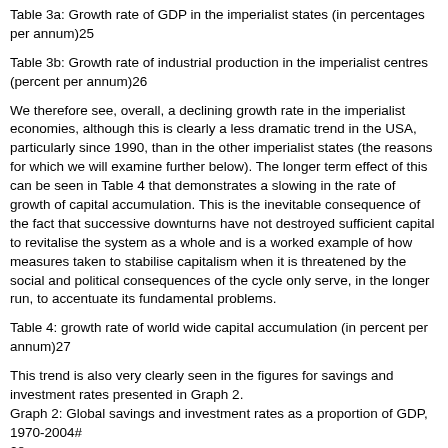Table 3a: Growth rate of GDP in the imperialist states (in percentages per annum)25
Table 3b: Growth rate of industrial production in the imperialist centres (percent per annum)26
We therefore see, overall, a declining growth rate in the imperialist economies, although this is clearly a less dramatic trend in the USA, particularly since 1990, than in the other imperialist states (the reasons for which we will examine further below). The longer term effect of this can be seen in Table 4 that demonstrates a slowing in the rate of growth of capital accumulation. This is the inevitable consequence of the fact that successive downturns have not destroyed sufficient capital to revitalise the system as a whole and is a worked example of how measures taken to stabilise capitalism when it is threatened by the social and political consequences of the cycle only serve, in the longer run, to accentuate its fundamental problems.
Table 4: growth rate of world wide capital accumulation (in percent per annum)27
This trend is also very clearly seen in the figures for savings and investment rates presented in Graph 2.
Graph 2: Global savings and investment rates as a proportion of GDP, 1970-2004#
28
Finally, we will examine capital accumulation in specific countries and the bourgeois statistics that come closest to the Marxist category of fixed constant capital: investment in plant and machinery.